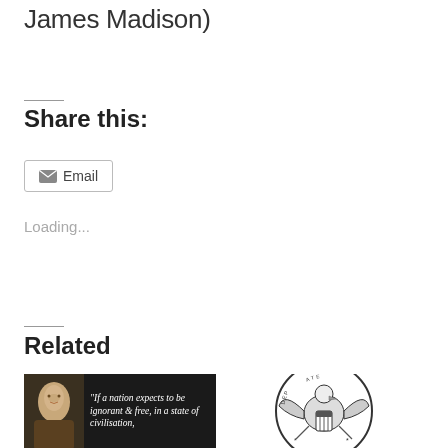James Madison)
Share this:
Email
Loading...
Related
[Figure (photo): Black background image of Thomas Jefferson portrait with quote text: 'If a nation expects to be ignorant & free, in a state of civilisation,']
[Figure (illustration): Circular seal of the Department of State featuring an eagle with shield, olive branch and arrows, viewed from partial crop]